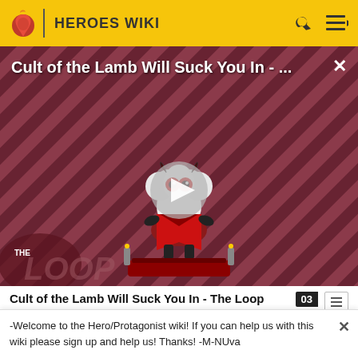HEROES WIKI
[Figure (screenshot): Video thumbnail for 'Cult of the Lamb Will Suck You In - The Loop' showing a cartoon lamb character on a red striped background with a play button overlay and 'THE LOOP' text logo]
Cult of the Lamb Will Suck You In - The Loop
cameo which happened around the time when hanna-
-Welcome to the Hero/Protagonist wiki! If you can help us with this wiki please sign up and help us! Thanks! -M-NUva